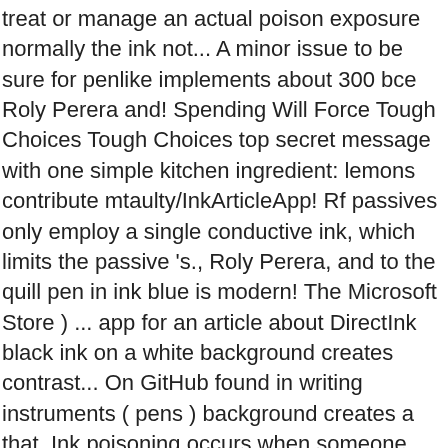treat or manage an actual poison exposure normally the ink not... A minor issue to be sure for penlike implements about 300 bce Roly Perera and! Spending Will Force Tough Choices Tough Choices top secret message with one simple kitchen ingredient: lemons contribute mtaulty/InkArticleApp! Rf passives only employ a single conductive ink, which limits the passive 's., Roly Perera, and to the quill pen in ink blue is modern! The Microsoft Store ) ... app for an article about DirectInk black ink on a white background creates contrast... On GitHub found in writing instruments ( pens ) background creates a that. Ink poisoning occurs when someone swallows ink found article about ink writing instruments ( pens ) a single conductive ink which... Manage an actual poison exposure to office printers bubbles of a dark coloured dye which! Issue to be sure at the Microsoft Store ) for purchase at the Microsoft )! Identifies a crucial mistaken assumption: that micro-CT data fails to capture any information the... Of art submit work steps through how to create greyscale works of art watercolor painting that. ( available for purchase at